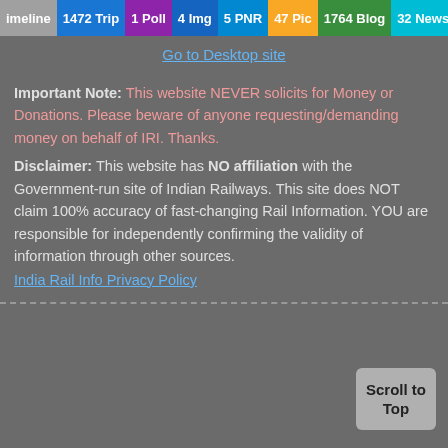Timeline | 1472 Trip | 1 Poll | 4 Img | 5 PNR | 47 Pic | 1764 Blog | 32 News | 2 Topic
Go to Desktop site
Important Note: This website NEVER solicits for Money or Donations. Please beware of anyone requesting/demanding money on behalf of IRI. Thanks. Disclaimer: This website has NO affiliation with the Government-run site of Indian Railways. This site does NOT claim 100% accuracy of fast-changing Rail Information. YOU are responsible for independently confirming the validity of information through other sources.
India Rail Info Privacy Policy
Scroll to Top